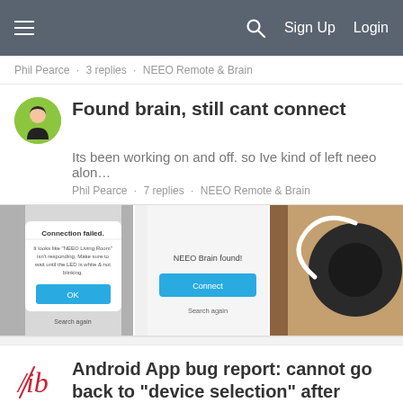Sign Up  Login
Phil Pearce · 3 replies · NEEO Remote & Brain
Found brain, still cant connect
Its been working on and off. so Ive kind of left neeo alon…
Phil Pearce · 7 replies · NEEO Remote & Brain
[Figure (screenshot): Three screenshots showing NEEO app connection screens: Connection failed dialog, NEEO Brain found screen with Connect button, and a physical photo of the NEEO brain device.]
Android App bug report: cannot go back to "device selection" after selecting device
When adding a new device, after selecting a device, and…
Bill Clarke · 1 reply · General